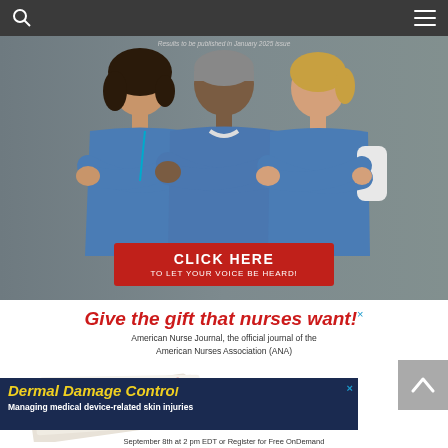[Figure (photo): Three nurses in blue scrubs smiling with arms crossed against a grey background. Text at top: 'Results to be published in January 2025 issue'. Red button overlay: 'CLICK HERE / TO LET YOUR VOICE BE HEARD!']
Give the gift that nurses want!
American Nurse Journal, the official journal of the American Nurses Association (ANA)
[Figure (photo): Stack of American Nurse journals with a red bow on top]
[Figure (other): Advertisement: 'Dermal Damage Control - Managing medical device-related skin injuries - September 8th at 2 pm EDT or Register for Free OnDemand']